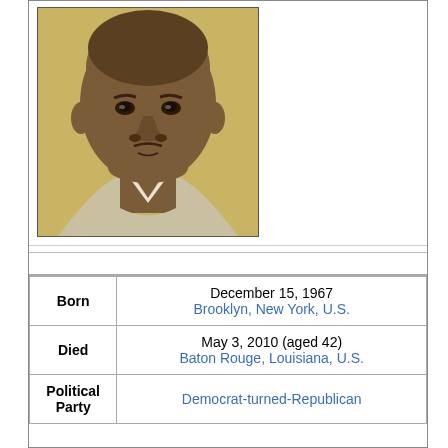[Figure (photo): Portrait photo of a smiling man in a suit against a golden/yellow background]
| Field | Value |
| --- | --- |
| Born | December 15, 1967
Brooklyn, New York, U.S. |
| Died | May 3, 2010 (aged 42)
Baton Rouge, Louisiana, U.S. |
| Political Party | Democrat-turned-Republican |